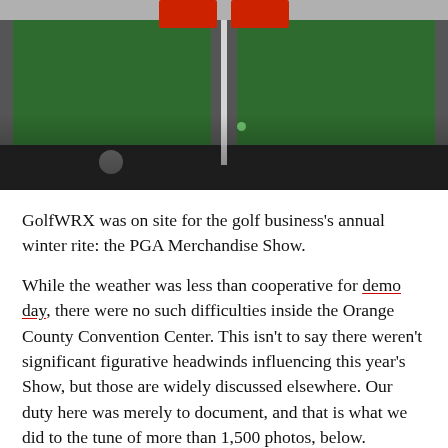[Figure (photo): Overhead/angled photo of a green putting mat or golf practice surface with a white vertical dividing stripe, red equipment at the top, and a dark blurred lower section.]
GolfWRX was on site for the golf business's annual winter rite: the PGA Merchandise Show.
While the weather was less than cooperative for demo day, there were no such difficulties inside the Orange County Convention Center. This isn't to say there weren't significant figurative headwinds influencing this year's Show, but those are widely discussed elsewhere. Our duty here was merely to document, and that is what we did to the tune of more than 1,500 photos, below.